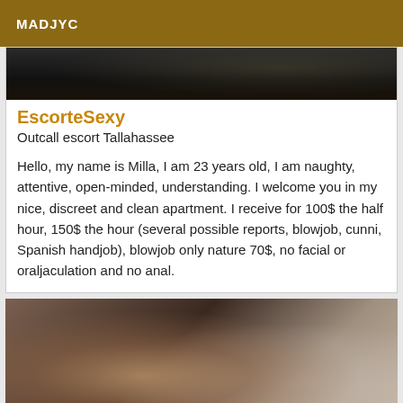MADJYC
[Figure (photo): Dark close-up photo, partially visible at top of listing card]
EscorteSexy
Outcall escort Tallahassee
Hello, my name is Milla, I am 23 years old, I am naughty, attentive, open-minded, understanding. I welcome you in my nice, discreet and clean apartment. I receive for 100$ the half hour, 150$ the hour (several possible reports, blowjob, cunni, Spanish handjob), blowjob only nature 70$, no facial or oraljaculation and no anal.
[Figure (photo): Close-up portrait photo of a woman with light brown hair, lying down, looking at camera]